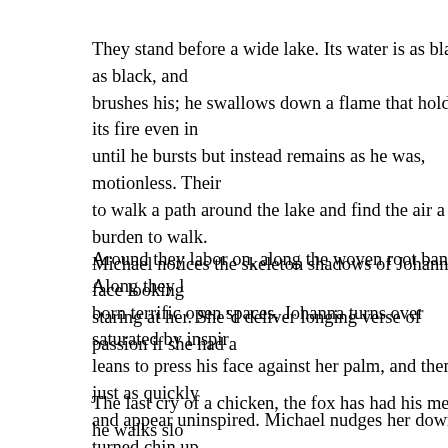They stand before a wide lake. Its water is as black as black, and brushes his; he swallows down a flame that holds its fire even in until he bursts but instead remains as he was, motionless. Their to walk a path around the lake and find the air a burden to walk Michael notices the skeleton shadows of Johanna's face looking staring at her. She'd deliver longing verse of passion if she had a
Around they labor on, along the woven root banks. Along they born terrific open spaces. Johanna turns over saturated by inspir leans to press his face against her palm, and then just as quickly and appear uninspired. Michael nudges her down turned chin up face against hers. He feels her smile. Burning in the chest: a coa with water hot to numb his mouth and warm the ribs. His face r the powdering snow.
The last cry of a chicken, the fox has had his meal; he walks slo leftovers to drag. His crying is also over for this night; now he s hours at you and he'll rise as early as the thoughts of rising r